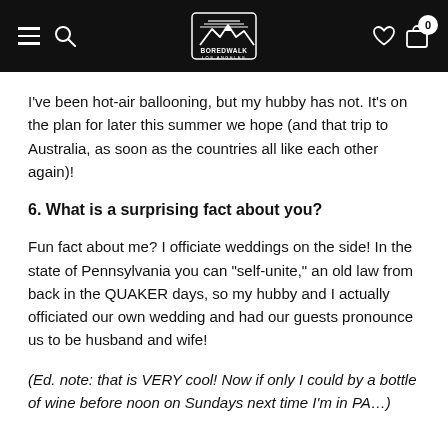Boredwalk Los Angeles – navigation bar
I've been hot-air ballooning, but my hubby has not. It's on the plan for later this summer we hope (and that trip to Australia, as soon as the countries all like each other again)!
6. What is a surprising fact about you?
Fun fact about me? I officiate weddings on the side! In the state of Pennsylvania you can "self-unite," an old law from back in the QUAKER days, so my hubby and I actually officiated our own wedding and had our guests pronounce us to be husband and wife!
(Ed. note: that is VERY cool! Now if only I could by a bottle of wine before noon on Sundays next time I'm in PA…)